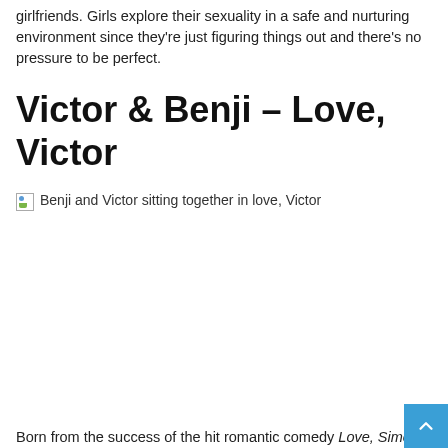girlfriends. Girls explore their sexuality in a safe and nurturing environment since they're just figuring things out and there's no pressure to be perfect.
Victor & Benji – Love, Victor
[Figure (photo): Broken image placeholder showing 'Benji and Victor sitting together in love, Victor']
Born from the success of the hit romantic comedy Love, Simon,